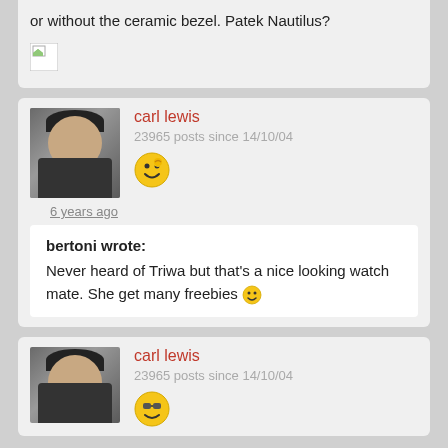or without the ceramic bezel. Patek Nautilus?
[Figure (photo): Broken/missing image placeholder icon]
carl lewis
23965 posts since 14/10/04
[Figure (photo): Emoji smiley face icon]
6 years ago
bertoni wrote:
Never heard of Triwa but that's a nice looking watch mate. She get many freebies
carl lewis
23965 posts since 14/10/04
[Figure (photo): Emoji smiley face icon with sunglasses]